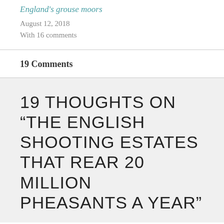England's grouse moors
August 12, 2018
With 16 comments
19 Comments
19 THOUGHTS ON “THE ENGLISH SHOOTING ESTATES THAT REAR 20 MILLION PHEASANTS A YEAR”
BOXWOODBOOKS
April 2, 2019 at 8:32 am